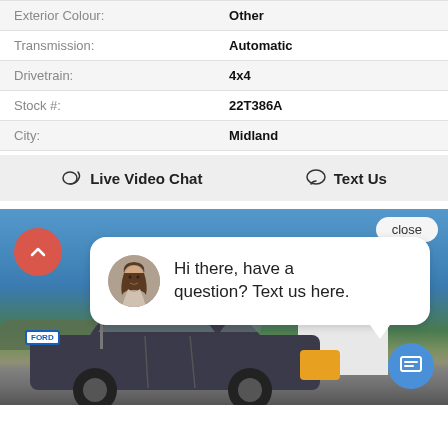| Field | Value |
| --- | --- |
| Exterior Colour: | Other |
| Transmission: | Automatic |
| Drivetrain: | 4x4 |
| Stock #: | 22T386A |
| City: | Midland |
Live Video Chat   Text Us
[Figure (screenshot): Dealership photo with chat popup overlay showing a female agent avatar and message 'Hi there, have a question? Text us here.' A blue chat icon button is in the bottom right, and a 'close' button in the top right.]